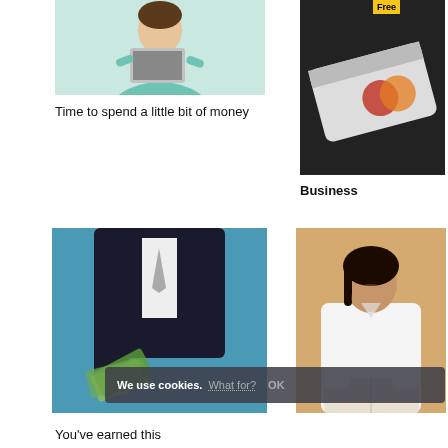[Figure (photo): Woman in teal business suit holding a laptop, cropped at top]
Time to spend a little bit of money
[Figure (photo): Credit card in black and white, blurred background, with Free badge in upper right]
Free
Business
[Figure (photo): Man in black suit holding out a fan of dollar bills against blue background, headless]
[Figure (photo): Woman in white blazer looking down at papers, gold/beige background]
We use cookies. What for? OK
You've earned this